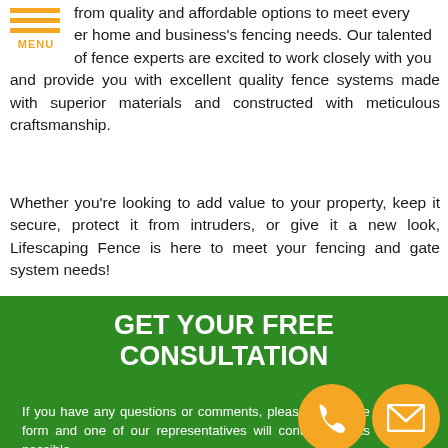[Figure (other): Hamburger menu icon with three orange horizontal lines and orange MENU label]
from quality and affordable options to meet every home and business's fencing needs. Our talented of fence experts are excited to work closely with you and provide you with excellent quality fence systems made with superior materials and constructed with meticulous craftsmanship.
Whether you're looking to add value to your property, keep it secure, protect it from intruders, or give it a new look, Lifescaping Fence is here to meet your fencing and gate system needs!
Call Lifescaping Fence today at (916) 545-8717 for your Free Consultation!
GET YOUR FREE CONSULTATION
If you have any questions or comments, please fill out the following form and one of our representatives will contact you as soon as possible.
[Figure (other): Orange circular phone icon]
[Figure (other): Orange circular email/envelope icon]